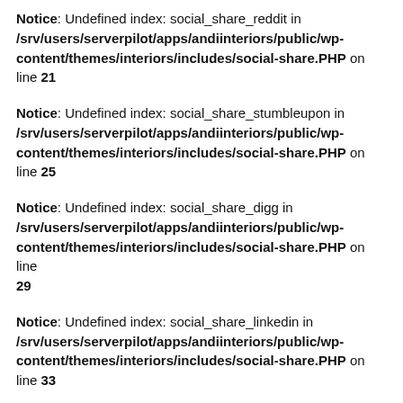Notice: Undefined index: social_share_reddit in /srv/users/serverpilot/apps/andiinteriors/public/wp-content/themes/interiors/includes/social-share.PHP on line 21
Notice: Undefined index: social_share_stumbleupon in /srv/users/serverpilot/apps/andiinteriors/public/wp-content/themes/interiors/includes/social-share.PHP on line 25
Notice: Undefined index: social_share_digg in /srv/users/serverpilot/apps/andiinteriors/public/wp-content/themes/interiors/includes/social-share.PHP on line 29
Notice: Undefined index: social_share_linkedin in /srv/users/serverpilot/apps/andiinteriors/public/wp-content/themes/interiors/includes/social-share.PHP on line 33
Notice: Undefined index: social_share_delicious in /srv/users/serverpilot/apps/andiinteriors/public/wp-content/themes/interiors/includes/social-share.PHP on line 37